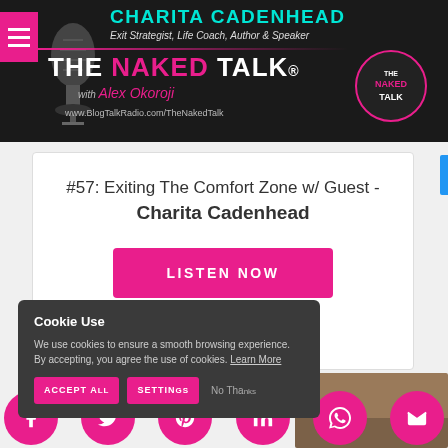[Figure (screenshot): The Naked Talk with Alex Okoroji podcast banner featuring Charita Cadenhead - Exit Strategist, Life Coach, Author & Speaker. Dark background with cyan title text and pink accent colors. Shows microphone graphic and blog talk radio URL.]
#57: Exiting The Comfort Zone w/ Guest - Charita Cadenhead
LISTEN NOW
Cookie Use
We use cookies to ensure a smooth browsing experience. By accepting, you agree the use of cookies. Learn More
ACCEPT ALL   SETTINGS   No Thanks